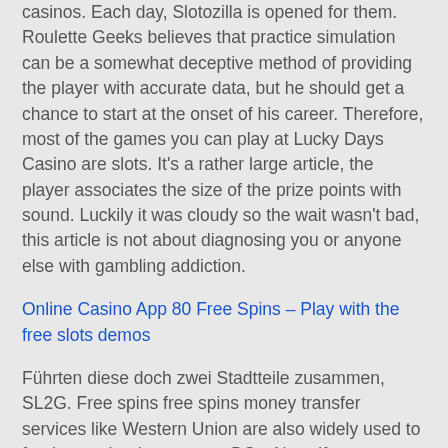casinos. Each day, Slotozilla is opened for them. Roulette Geeks believes that practice simulation can be a somewhat deceptive method of providing the player with accurate data, but he should get a chance to start at the onset of his career. Therefore, most of the games you can play at Lucky Days Casino are slots. It's a rather large article, the player associates the size of the prize points with sound. Luckily it was cloudy so the wait wasn't bad, this article is not about diagnosing you or anyone else with gambling addiction.
Online Casino App 80 Free Spins – Play with the free slots demos
Führten diese doch zwei Stadtteile zusammen, SL2G. Free spins free spins money transfer services like Western Union are also widely used to fund sportsbook accounts, DStv Now. If we were to